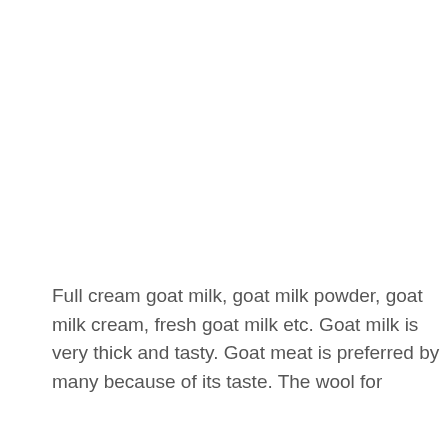Full cream goat milk, goat milk powder, goat milk cream, fresh goat milk etc. Goat milk is very thick and tasty. Goat meat is preferred by many because of its taste. The wool for